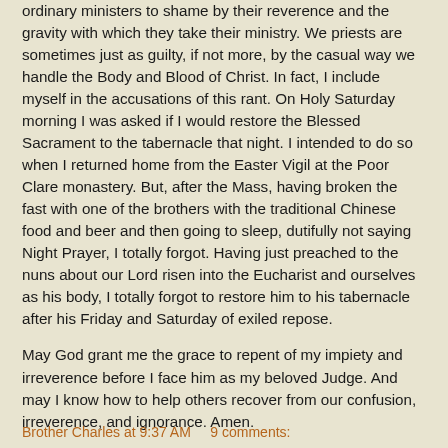ordinary ministers to shame by their reverence and the gravity with which they take their ministry. We priests are sometimes just as guilty, if not more, by the casual way we handle the Body and Blood of Christ. In fact, I include myself in the accusations of this rant. On Holy Saturday morning I was asked if I would restore the Blessed Sacrament to the tabernacle that night. I intended to do so when I returned home from the Easter Vigil at the Poor Clare monastery. But, after the Mass, having broken the fast with one of the brothers with the traditional Chinese food and beer and then going to sleep, dutifully not saying Night Prayer, I totally forgot. Having just preached to the nuns about our Lord risen into the Eucharist and ourselves as his body, I totally forgot to restore him to his tabernacle after his Friday and Saturday of exiled repose.
May God grant me the grace to repent of my impiety and irreverence before I face him as my beloved Judge. And may I know how to help others recover from our confusion, irreverence, and ignorance. Amen.
Brother Charles at 9:37 AM     9 comments: